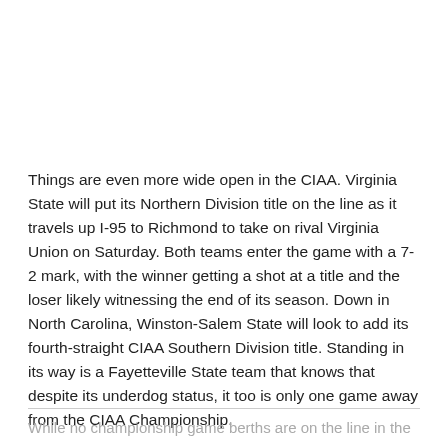Things are even more wide open in the CIAA. Virginia State will put its Northern Division title on the line as it travels up I-95 to Richmond to take on rival Virginia Union on Saturday. Both teams enter the game with a 7-2 mark, with the winner getting a shot at a title and the loser likely witnessing the end of its season. Down in North Carolina, Winston-Salem State will look to add its fourth-straight CIAA Southern Division title. Standing in its way is a Fayetteville State team that knows that despite its underdog status, it too is only one game away from the CIAA Championship.
While no championship game berths are on the line in the